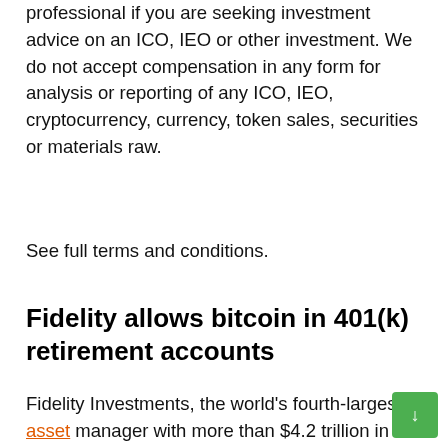professional if you are seeking investment advice on an ICO, IEO or other investment. We do not accept compensation in any form for analysis or reporting of any ICO, IEO, cryptocurrency, currency, token sales, securities or materials raw.
See full terms and conditions.
Fidelity allows bitcoin in 401(k) retirement accounts
Fidelity Investments, the world's fourth-largest asset manager with more than $4.2 trillion in assets under management, today announced that it will let clients allocate part of their retirement...